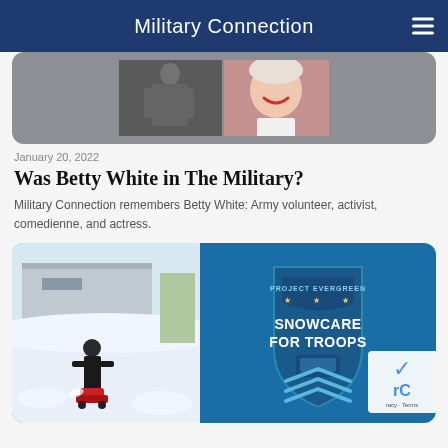Military Connection
[Figure (photo): Split image: black and white photo of a soldier in military uniform on the left, color photo of elderly woman (Betty White) smiling on the right, set against a gray rounded card background]
January 20, 2022
Was Betty White in The Military?
Military Connection remembers Betty White: Army volunteer, activist, comedienne, and actress.
[Figure (photo): Blue rounded card with two images: left shows a person using a snow blower in a snowy scene; right shows the Project Evergreen Snowcare for Troops shield badge logo]